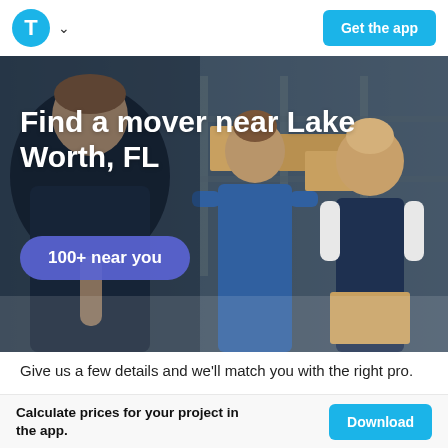[Figure (logo): Thumbtack logo: cyan circle with white T, followed by chevron dropdown arrow]
Get the app
[Figure (photo): Three movers in a warehouse/truck loading area handling cardboard boxes. One in foreground wearing dark jacket, one in blue coveralls in center, one in navy vest on right.]
Find a mover near Lake Worth, FL
100+ near you
Give us a few details and we'll match you with the right pro.
Calculate prices for your project in the app.
Download